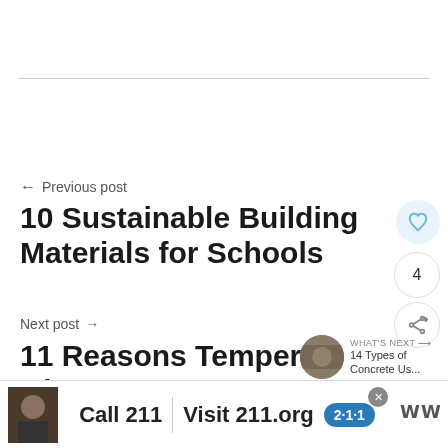← Previous post
10 Sustainable Building Materials for Schools
Next post →
11 Reasons Tempered Glas… Stronger & Better than Annealed
[Figure (other): What's Next thumbnail with text: 14 Types of Concrete Us...]
[Figure (other): Advertisement banner: Call 211 | Visit 211.org with 2-1-1 badge logo]